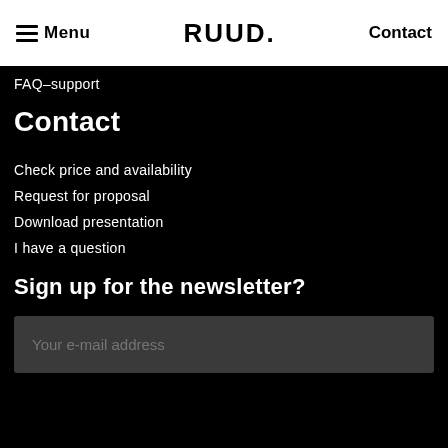Menu | RUUD. | Contact
FAQ–support
Contact
Check price and availability
Request for proposal
Download presentation
I have a question
Sign up for the newsletter?
Your e-mail address